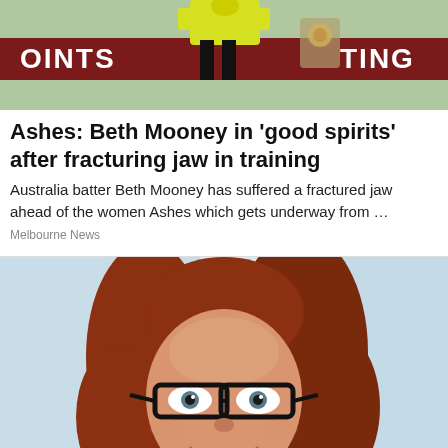[Figure (photo): Cricket player in yellow uniform on field with stadium signage]
Ashes: Beth Mooney in 'good spirits' after fracturing jaw in training
Australia batter Beth Mooney has suffered a fractured jaw ahead of the women Ashes which gets underway from …
Melbourne News
[Figure (photo): Smiling woman with red hair and black glasses against a light blue background]